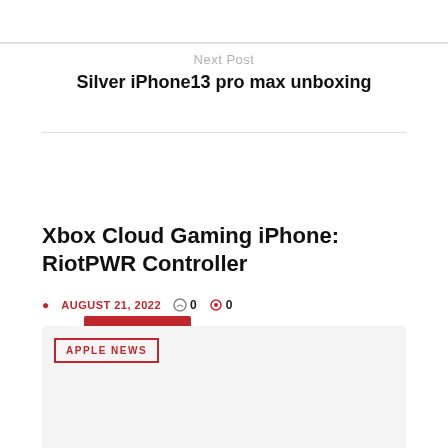Next Post
Silver iPhone13 pro max unboxing
Related Posts
Xbox Cloud Gaming iPhone: RiotPWR Controller
AUGUST 21, 2022   0   0
APPLE NEWS